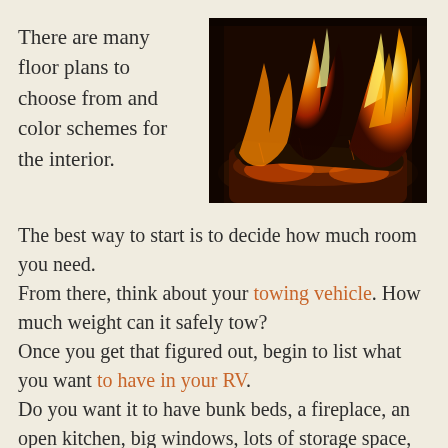There are many floor plans to choose from and color schemes for the interior.
[Figure (photo): Close-up photo of burning logs with orange and yellow flames, glowing embers and charred wood visible]
The best way to start is to decide how much room you need.
From there, think about your towing vehicle. How much weight can it safely tow?
Once you get that figured out, begin to list what you want to have in your RV.
Do you want it to have bunk beds, a fireplace, an open kitchen, big windows, lots of storage space, an entertainment center, fiberglass siding or corrugated